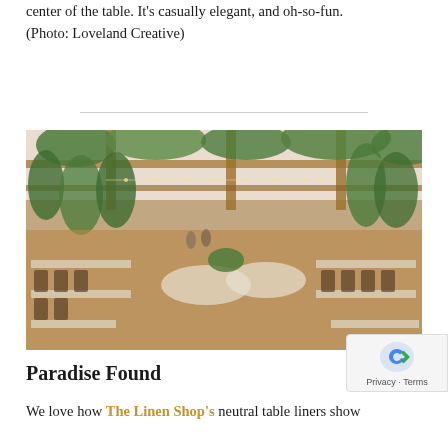center of the table. It’s casually elegant, and oh-so-fun. (Photo: Loveland Creative)
[Figure (photo): Interior of a large barn-style wedding reception venue decorated with hanging greenery from wooden beams, string lights, long farm tables with white runners, and chiavari chairs arranged throughout a spacious hall with wood floors.]
Paradise Found
We love how The Linen Shop’s neutral table liners show